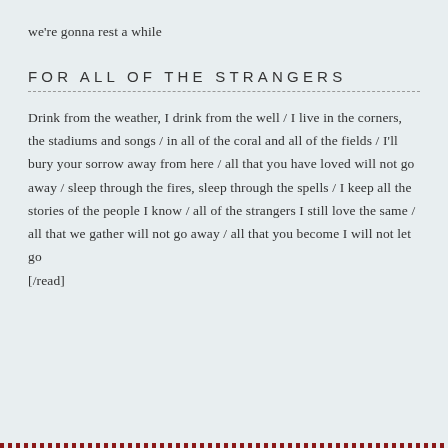we're gonna rest a while
FOR ALL OF THE STRANGERS
Drink from the weather, I drink from the well / I live in the corners, the stadiums and songs / in all of the coral and all of the fields / I'll bury your sorrow away from here / all that you have loved will not go away / sleep through the fires, sleep through the spells / I keep all the stories of the people I know / all of the strangers I still love the same / all that we gather will not go away / all that you become I will not let go
[/read]